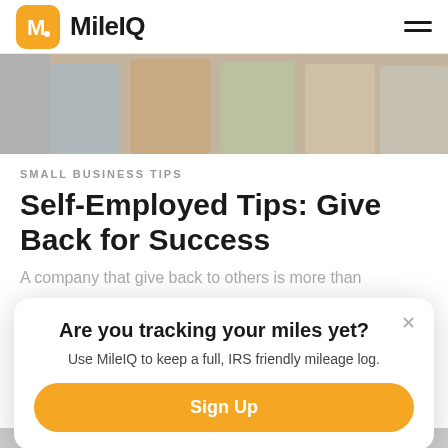MileIQ
[Figure (photo): Group of people standing together, partial torsos visible, business casual attire]
SMALL BUSINESS TIPS
Self-Employed Tips: Give Back for Success
A company that give back to others is more than
Are you tracking your miles yet?
Use MileIQ to keep a full, IRS friendly mileage log.
Sign Up